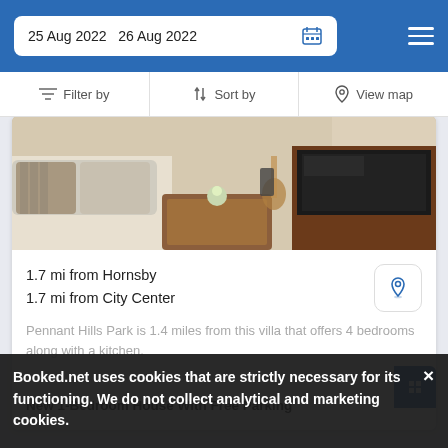25 Aug 2022   26 Aug 2022
Filter by   Sort by   View map
[Figure (photo): Interior photo of a living room with sofa, wooden coffee table, TV unit, and guitar in the background]
1.7 mi from Hornsby
1.7 mi from City Center
Pennant Hills Park is 1.4 miles from this villa that offers 4 bedrooms along with a kitchen.
SELECT
New 1-Bedroom House With Free Parking
Booked.net uses cookies that are strictly necessary for its functioning. We do not collect analytical and marketing cookies.